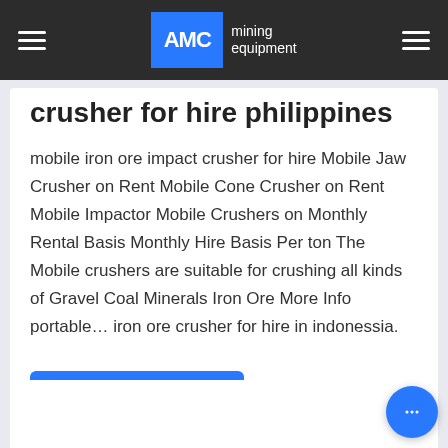AMC mining equipment
crusher for hire philippines
mobile iron ore impact crusher for hire Mobile Jaw Crusher on Rent Mobile Cone Crusher on Rent Mobile Impactor Mobile Crushers on Monthly Rental Basis Monthly Hire Basis Per ton The Mobile crushers are suitable for crushing all kinds of Gravel Coal Minerals Iron Ore More Info portable… iron ore crusher for hire in indonessia.
مشورت کردن